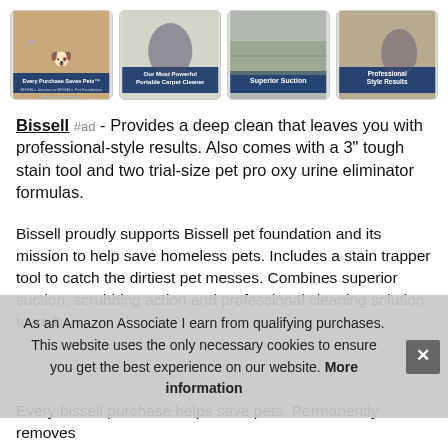[Figure (photo): Row of four product thumbnail images for Bissell carpet cleaner: 1) bulldog with 'Every Purchase Saves Pets', 2) carpet cleaner in use 'Our Most Powerful Portable Carpet Cleaner', 3) carpet cleaner 'Superior Suction', 4) car seat cleaning 'Professional Style Results']
Bissell #ad - Provides a deep clean that leaves you with professional-style results. Also comes with a 3" tough stain tool and two trial-size pet pro oxy urine eliminator formulas.
Bissell proudly supports Bissell pet foundation and its mission to help save homeless pets. Includes a stain trapper tool to catch the dirtiest pet messes. Combines superior suction, scrubbing action and professional cleaning solution to stub
As an Amazon Associate I earn from qualifying purchases. This website uses the only necessary cookies to ensure you get the best experience on our website. More information
Every bissell purchase helps save pets. Permanently removes